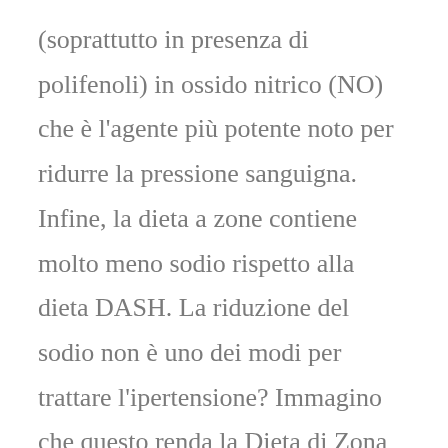(soprattutto in presenza di polifenoli) in ossido nitrico (NO) che è l'agente più potente noto per ridurre la pressione sanguigna. Infine, la dieta a zone contiene molto meno sodio rispetto alla dieta DASH. La riduzione del sodio non è uno dei modi per trattare l'ipertensione? Immagino che questo renda la Dieta di Zona l'equivalente della dieta "super-DASH".